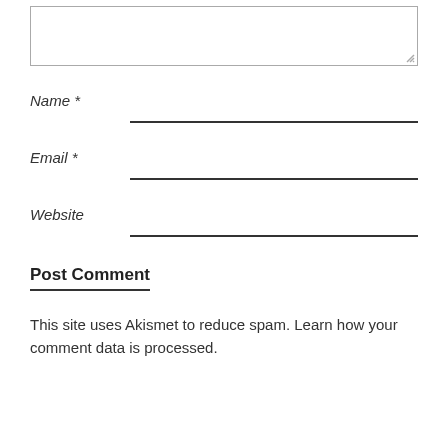[Figure (other): Text area input box with resize handle in bottom-right corner]
Name *
Email *
Website
Post Comment
This site uses Akismet to reduce spam. Learn how your comment data is processed.